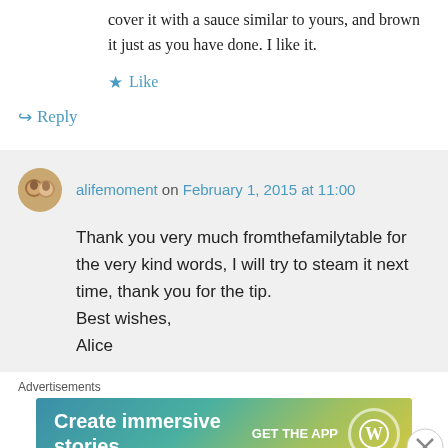cover it with a sauce similar to yours, and brown it just as you have done. I like it.
★ Like
↳ Reply
alifemoment on February 1, 2015 at 11:00
Thank you very much fromthefamilytable for the very kind words, I will try to steam it next time, thank you for the tip.
Best wishes,
Alice
Advertisements
[Figure (screenshot): WordPress advertisement banner: 'Create immersive stories.' with GET THE APP button and WordPress logo]